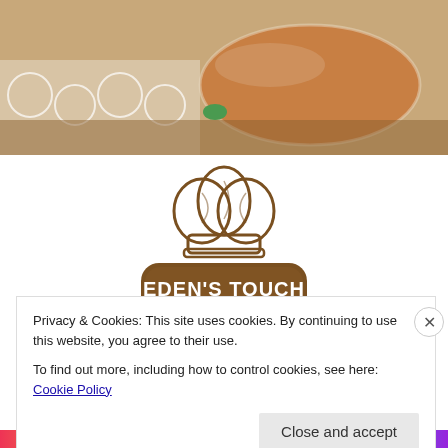[Figure (photo): Baked goods in clear plastic wrap on a white doily, with a green ribbon visible, on a brown/wooden surface background.]
[Figure (logo): Eden's Touch Bread Company logo: a chef's hat drawn in brown outline above a brown rounded-rectangle badge with white text reading EDEN'S TOUCH Bread Company.]
Eden's Touch Bread Company is a new
Privacy & Cookies: This site uses cookies. By continuing to use this website, you agree to their use.
To find out more, including how to control cookies, see here: Cookie Policy
Close and accept